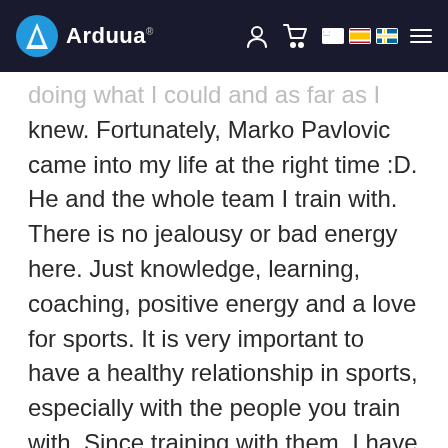Arduua
doing what I could and as far as I knew. Fortunately, Marko Pavlovic came into my life at the right time :D. He and the whole team I train with. There is no jealousy or bad energy here. Just knowledge, learning, coaching, positive energy and a love for sports. It is very important to have a healthy relationship in sports, especially with the people you train with. Since training with them, I have been making progress, I am doing my best, I have learned a lot from them. And I know the basics to keep...